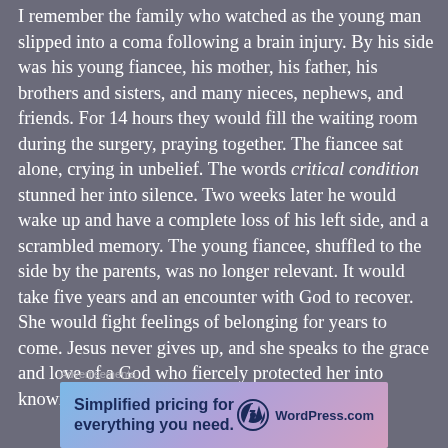I remember the family who watched as the young man slipped into a coma following a brain injury. By his side was his young fiancee, his mother, his father, his brothers and sisters, and many nieces, nephews, and friends. For 14 hours they would fill the waiting room during the surgery, praying together. The fiancee sat alone, crying in unbelief. The words critical condition stunned her into silence. Two weeks later he would wake up and have a complete loss of his left side, and a scrambled memory. The young fiancee, shuffled to the side by the parents, was no longer relevant. It would take five years and an encounter with God to recover. She would fight feelings of belonging for years to come. Jesus never gives up, and she speaks to the grace and love of a God who fiercely protected her into knowing she belongs.
Advertisements
[Figure (other): WordPress.com advertisement banner with gradient blue-pink background showing 'Simplified pricing for everything you need.' text and WordPress.com logo]